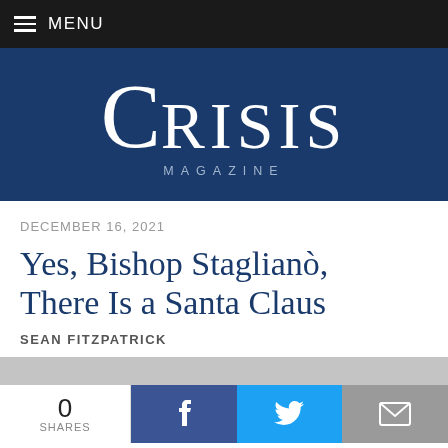MENU
[Figure (logo): Crisis Magazine logo — large stylized C with RISIS in serif font, MAGAZINE in spaced caps below, on dark blue background]
DECEMBER 16, 2021
Yes, Bishop Staglianò, There Is a Santa Claus
SEAN FITZPATRICK
0 SHARES